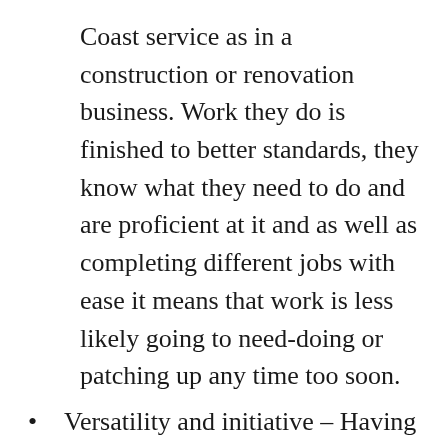Coast service as in a construction or renovation business. Work they do is finished to better standards, they know what they need to do and are proficient at it and as well as completing different jobs with ease it means that work is less likely going to need-doing or patching up any time too soon.
Versatility and initiative – Having an agency that is versatile is very useful. It means they can hand repairing window frames as well as polishing floors, or cleaning gutters.